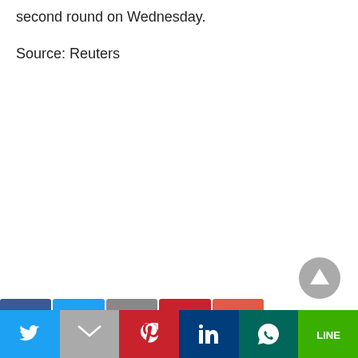second round on Wednesday.
Source: Reuters
[Figure (other): Scroll-to-top circular button with upward triangle arrow, grey background]
Social share bar with Twitter, Gmail, Pinterest, LinkedIn, WhatsApp, LINE buttons